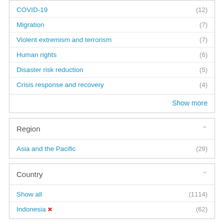COVID-19 (12)
Migration (7)
Violent extremism and terrorism (7)
Human rights (6)
Disaster risk reduction (5)
Crisis response and recovery (4)
Show more
Region
Asia and the Pacific (29)
Country
Show all (1114)
Indonesia ✗ (62)